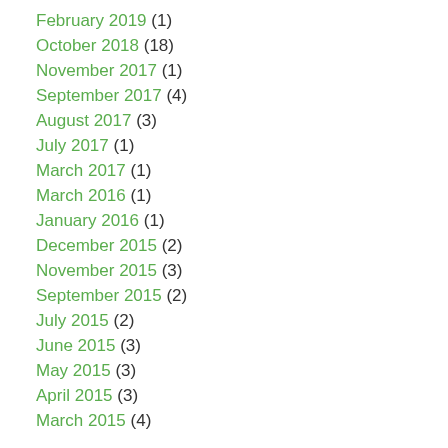February 2019 (1)
October 2018 (18)
November 2017 (1)
September 2017 (4)
August 2017 (3)
July 2017 (1)
March 2017 (1)
March 2016 (1)
January 2016 (1)
December 2015 (2)
November 2015 (3)
September 2015 (2)
July 2015 (2)
June 2015 (3)
May 2015 (3)
April 2015 (3)
March 2015 (4)